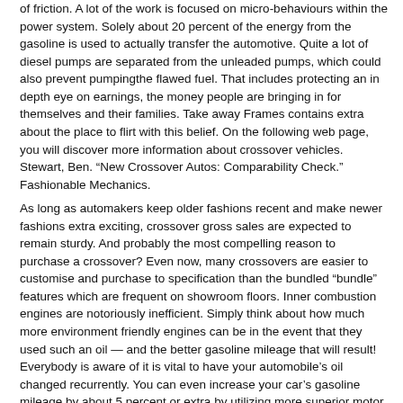of friction. A lot of the work is focused on micro-behaviours within the power system. Solely about 20 percent of the energy from the gasoline is used to actually transfer the automotive. Quite a lot of diesel pumps are separated from the unleaded pumps, which could also prevent pumpingthe flawed fuel. That includes protecting an in depth eye on earnings, the money people are bringing in for themselves and their families. Take away Frames contains extra about the place to flirt with this belief. On the following web page, you will discover more information about crossover vehicles. Stewart, Ben. “New Crossover Autos: Comparability Check.” Fashionable Mechanics.
As long as automakers keep older fashions recent and make newer fashions extra exciting, crossover gross sales are expected to remain sturdy. And probably the most compelling reason to purchase a crossover? Even now, many crossovers are easier to customise and purchase to specification than the bundled “bundle” features which are frequent on showroom floors. Inner combustion engines are notoriously inefficient. Simply think about how much more environment friendly engines can be in the event that they used such an oil — and the better gasoline mileage that will result! Everybody is aware of it is vital to have your automobile’s oil changed recurrently. You can even increase your car’s gasoline mileage by about 5 percent or extra by utilizing more superior motor oil. The longevity of your engine to have your oil modified